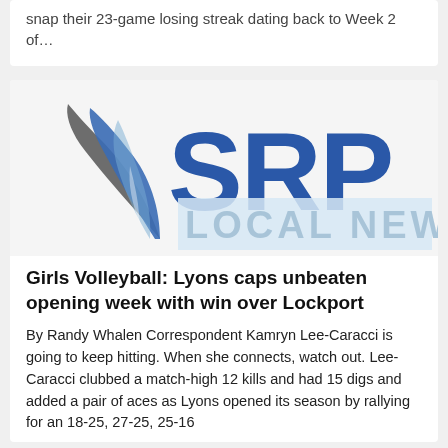snap their 23-game losing streak dating back to Week 2 of…
[Figure (logo): SRP Local News logo with feather quill and blue letters SRP above LOCAL NEWS text]
Girls Volleyball: Lyons caps unbeaten opening week with win over Lockport
By Randy Whalen Correspondent Kamryn Lee-Caracci is going to keep hitting. When she connects, watch out. Lee-Caracci clubbed a match-high 12 kills and had 15 digs and added a pair of aces as Lyons opened its season by rallying for an 18-25, 27-25, 25-16